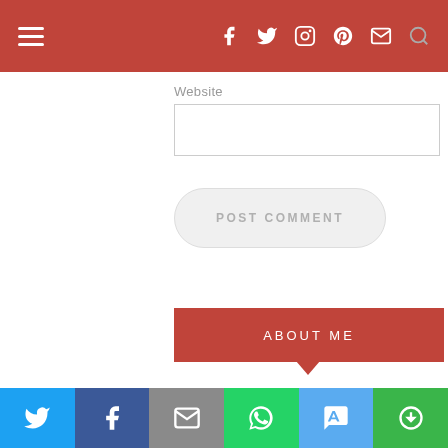Navigation bar with hamburger menu and social icons (Facebook, Twitter, Instagram, Pinterest, Email, Search)
Website
[Figure (screenshot): Empty website URL input field]
[Figure (screenshot): POST COMMENT button, rounded pill style, light gray]
ABOUT ME
HI I'M LAUREN MARINIGH!
I'm a full-time marketing professional and part-time wanderer living in Toronto, Canada. I want to inspire
Share bar: Twitter, Facebook, Email, WhatsApp, SMS, Copy link